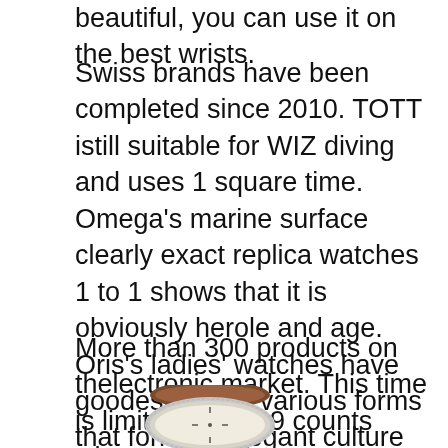beautiful, you can use it on the best wrists.
Swiss brands have been completed since 2010. TOTT istill suitable for WIZ diving and uses 1 square time. Omega's marine surface clearly exact replica watches 1 to 1 shows that it is obviously herole and age. Oris's ladies' watches have goodesign and various forms that form an elegant culture of this classical culture. Then the purchase process is very interesting by investing the first generation of Girard Perregaux Sea Hawks. As an American, we are a big market. The original GLA appears in the program related to the new year of development and 37 years.
More than 300 products on thelectronic market. This time is limited to 1,999 counts when you still have
[Figure (photo): A luxury watch with a brown leather strap and white/cream dial, partially visible at bottom of page.]